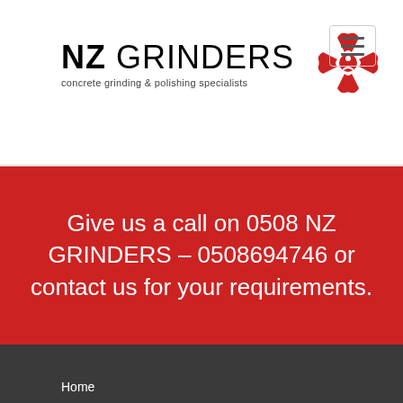NZ GRINDERS – concrete grinding & polishing specialists
Give us a call on 0508 NZ GRINDERS – 0508694746 or contact us for your requirements.
Home